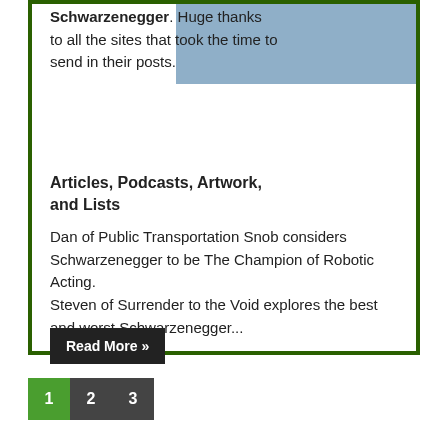Schwarzenegger. Huge thanks to all the sites that took the time to send in their posts.
Articles, Podcasts, Artwork, and Lists
Dan of Public Transportation Snob considers Schwarzenegger to be The Champion of Robotic Acting.
Steven of Surrender to the Void explores the best and worst Schwarzenegger...
[Figure (illustration): Blue/steel colored rectangular image placeholder in upper right of card]
Read More »
1 2 3